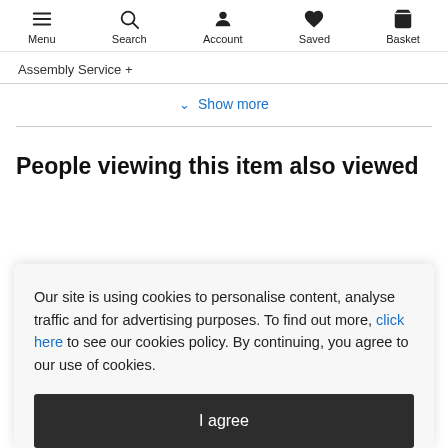Menu  Search  Account  Saved  Basket
Assembly Service +
Show more
People viewing this item also viewed
Our site is using cookies to personalise content, analyse traffic and for advertising purposes. To find out more, click here to see our cookies policy. By continuing, you agree to our use of cookies.
I agree